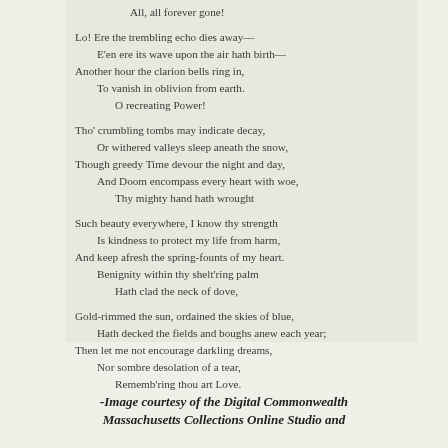All, all forever gone!

Lo! Ere the trembling echo dies away—
    E'en ere its wave upon the air hath birth—
Another hour the clarion bells ring in,
    To vanish in oblivion from earth.
        O recreating Power!

Tho' crumbling tombs may indicate decay,
    Or withered valleys sleep aneath the snow,
Though greedy Time devour the night and day,
    And Doom encompass every heart with woe,
        Thy mighty hand hath wrought

Such beauty everywhere, I know thy strength
    Is kindness to protect my life from harm,
And keep afresh the spring-founts of my heart.
    Benignity within thy shelt'ring palm
        Hath clad the neck of dove,

Gold-rimmed the sun, ordained the skies of blue,
    Hath decked the fields and boughs anew each year;
Then let me not encourage darkling dreams,
    Nor sombre desolation of a tear,
        Rememb'ring thou art Love.
-Image courtesy of the Digital Commonwealth